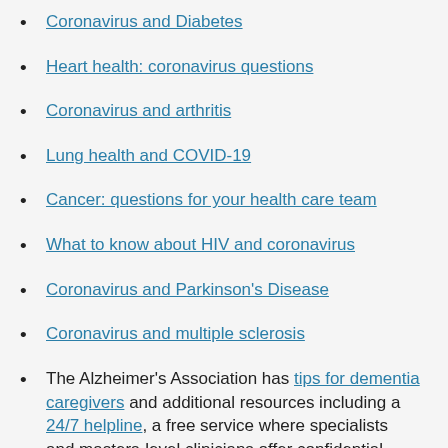Coronavirus and Diabetes
Heart health: coronavirus questions
Coronavirus and arthritis
Lung health and COVID-19
Cancer: questions for your health care team
What to know about HIV and coronavirus
Coronavirus and Parkinson’s Disease
Coronavirus and multiple sclerosis
The Alzheimer’s Association has tips for dementia caregivers and additional resources including a 24/7 helpline, a free service where specialists and masters-level clinicians offer confidential support and